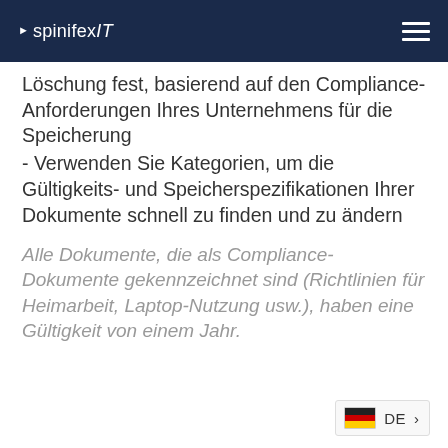spinifexIT
Löschung fest, basierend auf den Compliance-Anforderungen Ihres Unternehmens für die Speicherung
- Verwenden Sie Kategorien, um die Gültigkeits- und Speicherspezifikationen Ihrer Dokumente schnell zu finden und zu ändern
Alle Dokumente, die als Compliance-Dokumente gekennzeichnet sind (Richtlinien für Heimarbeit, Laptop-Nutzung usw.), haben eine Gültigkeit von einem Jahr.
DE